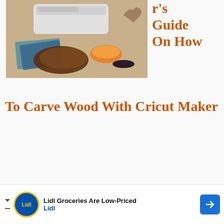[Figure (photo): Photo of a Cricut Maker machine on a table with craft materials, leather pieces, and a small animal figurine]
r's Guide On How To Carve Wood With Cricut Maker
[Figure (photo): Photo of professional wood carving tools (chisels with wooden handles) laid on a wooden surface, with a chainsaw icon overlay]
The 11+ Best Professional Wood Carving Tools For Beginners and
[Figure (other): Advertisement banner: Lidl Groceries Are Low-Priced, Lidl logo, navigation arrow icon]